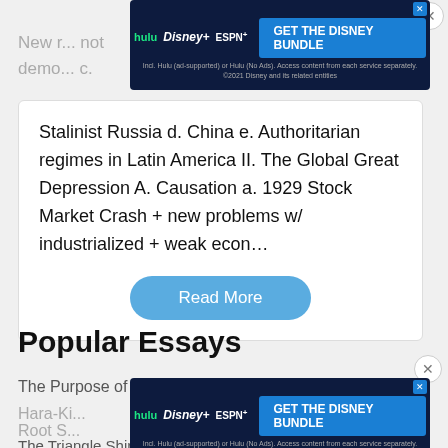New r... not demo... c.
[Figure (screenshot): Disney Bundle advertisement banner with Hulu, Disney+, ESPN+ logos and GET THE DISNEY BUNDLE button]
Stalinist Russia d. China e. Authoritarian regimes in Latin America II. The Global Great Depression A. Causation a. 1929 Stock Market Crash + new problems w/ industrialized + weak econ…
Read More
Popular Essays
The Purpose of War
Hara-Ki...
[Figure (screenshot): Disney Bundle advertisement banner with Hulu, Disney+, ESPN+ logos and GET THE DISNEY BUNDLE button]
Root S...
The Triangle Shirtwaist of 19...